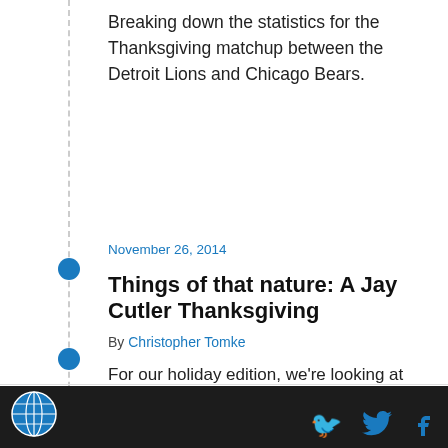Breaking down the statistics for the Thanksgiving matchup between the Detroit Lions and Chicago Bears.
November 26, 2014
Things of that nature: A Jay Cutler Thanksgiving
By Christopher Tomke
For our holiday edition, we're looking at ways teams have forced turnovers by the Chicago Bears and how the Detroit Lions can do the same.
November 26, 2014